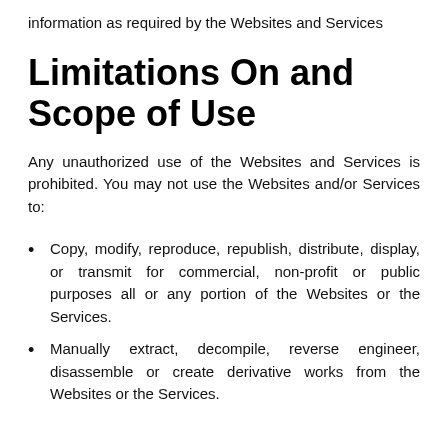information as required by the Websites and Services
Limitations On and Scope of Use
Any unauthorized use of the Websites and Services is prohibited. You may not use the Websites and/or Services to:
Copy, modify, reproduce, republish, distribute, display, or transmit for commercial, non-profit or public purposes all or any portion of the Websites or the Services.
Manually extract, decompile, reverse engineer, disassemble or create derivative works from the Websites or the Services.